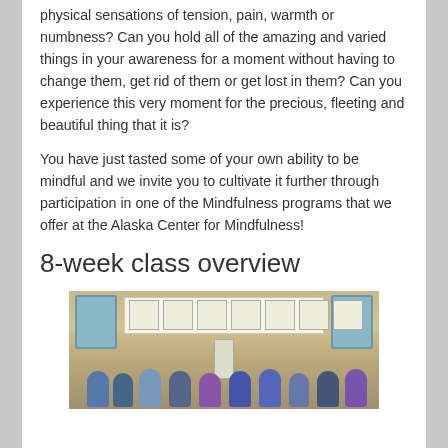physical sensations of tension, pain, warmth or numbness? Can you hold all of the amazing and varied things in your awareness for a moment without having to change them, get rid of them or get lost in them? Can you experience this very moment for the precious, fleeting and beautiful thing that it is?
You have just tasted some of your own ability to be mindful and we invite you to cultivate it further through participation in one of the Mindfulness programs that we offer at the Alaska Center for Mindfulness!
8-week class overview
[Figure (photo): Photo of a group of people sitting in a circle in a room with yellow walls, papers posted on the walls, and windows visible in the background.]